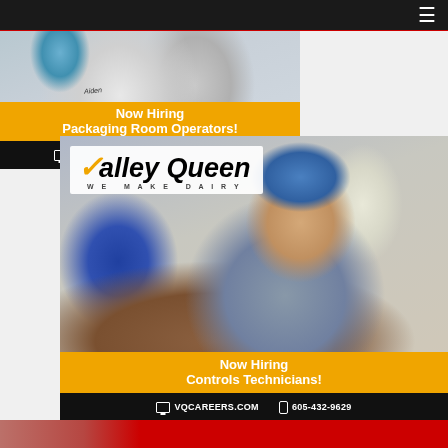[Figure (photo): Website screenshot showing two Valley Queen dairy company job advertisements. Top ad: workers in white lab coats and blue gloves in a packaging room. Bottom ad: smiling male worker in blue hard hat and glasses seated at a workstation with monitors.]
Now Hiring Packaging Room Operators!
VQCAREERS.COM   605-432-9629
[Figure (logo): Valley Queen - We Make Dairy logo]
Now Hiring Controls Technicians!
VQCAREERS.COM   605-432-9629